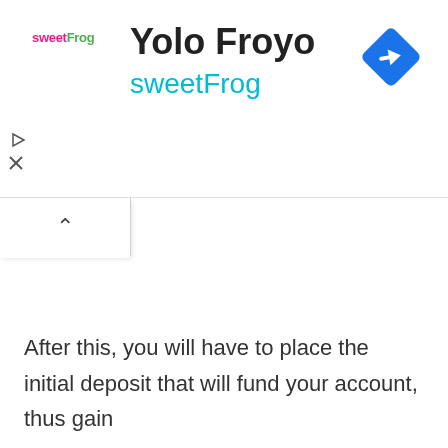[Figure (logo): sweetFrog frozen yogurt brand logo with colorful lettering]
Yolo Froyo
sweetFrog
[Figure (other): Blue diamond-shaped navigation/turn icon with right-arrow]
After this, you will have to place the initial deposit that will fund your account, thus gain